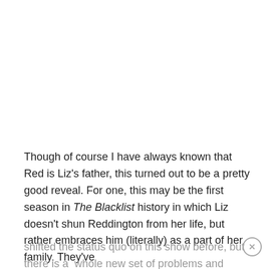Though of course I have always known that Red is Liz's father, this turned out to be a pretty good reveal. For one, this may be the first season in The Blacklist history in which Liz doesn't shun Reddington from her life, but rather embraces him (literally) as a part of her family. They've
shifted the status quo on this show before, but there is a whole new set of problems and dynamics shifting on the show heading in to a (now official) Season 5, and Red and Liz's relationship is the cornerstone of those changes. Of